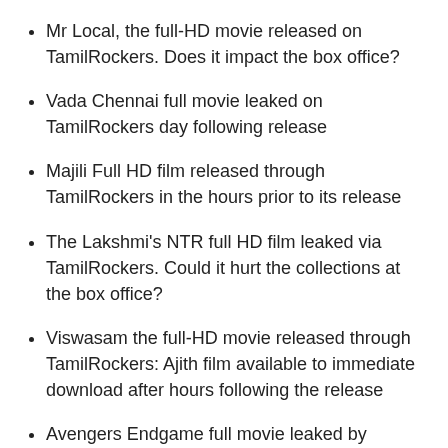Mr Local, the full-HD movie released on TamilRockers. Does it impact the box office?
Vada Chennai full movie leaked on TamilRockers day following release
Majili Full HD film released through TamilRockers in the hours prior to its release
The Lakshmi's NTR full HD film leaked via TamilRockers. Could it hurt the collections at the box office?
Viswasam the full-HD movie released through TamilRockers: Ajith film available to immediate download after hours following the release
Avengers Endgame full movie leaked by TamilRockers prior to its release, and available for download at no cost
Luka Chuppi movie in HD released by TamilRockers to